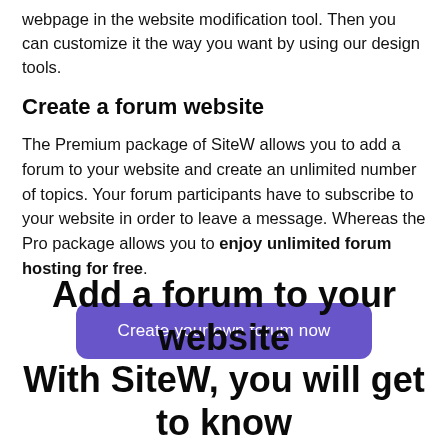webpage in the website modification tool. Then you can customize it the way you want by using our design tools.
Create a forum website
The Premium package of SiteW allows you to add a forum to your website and create an unlimited number of topics. Your forum participants have to subscribe to your website in order to leave a message. Whereas the Pro package allows you to enjoy unlimited forum hosting for free.
[Figure (other): Purple rounded button with text 'Create your own forum now']
Add a forum to your website With SiteW, you will get to know